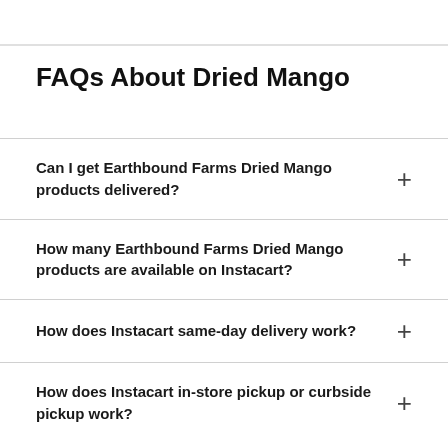FAQs About Dried Mango
Can I get Earthbound Farms Dried Mango products delivered?
How many Earthbound Farms Dried Mango products are available on Instacart?
How does Instacart same-day delivery work?
How does Instacart in-store pickup or curbside pickup work?